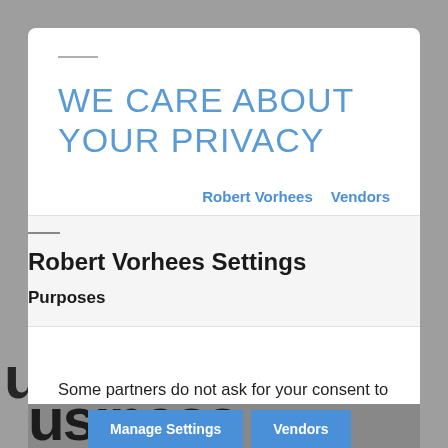WE CARE ABOUT YOUR PRIVACY
Robert Vorhees   Vendors
Robert Vorhees Settings
Purposes
Some partners do not ask for your consent to process your data. instead. they rely on
Manage Settings   Vendors